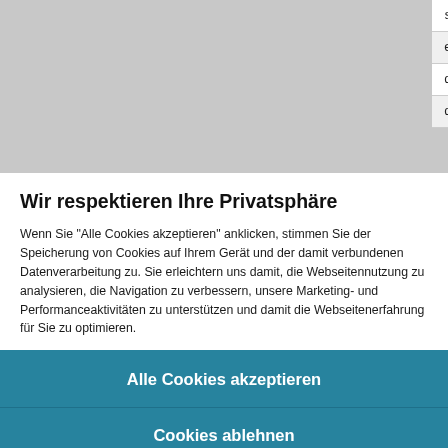| start_3 | WORD | W#16#80 |
| end_3 | WORD | W#16#84 |
| data_type_4 | BYTE | B#16#3 |
| db_4 | WORD | W#16#35 |
Wir respektieren Ihre Privatsphäre
Wenn Sie "Alle Cookies akzeptieren" anklicken, stimmen Sie der Speicherung von Cookies auf Ihrem Gerät und der damit verbundenen Datenverarbeitung zu. Sie erleichtern uns damit, die Webseitennutzung zu analysieren, die Navigation zu verbessern, unsere Marketing- und Performanceaktivitäten zu unterstützen und damit die Webseitenerfahrung für Sie zu optimieren.
Alle Cookies akzeptieren
Cookies ablehnen
Einstellungen verwalten